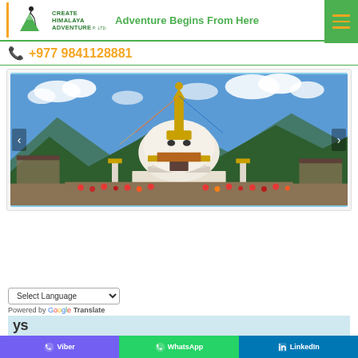[Figure (logo): Create Himalaya Adventure logo with hiker and mountain graphic, green text, vertical orange left border]
Adventure Begins From Here
+977 9841128881
[Figure (photo): Photograph of a large white Buddhist stupa (chorten) in Bhutan with golden spire, colorful prayer flags, crowds of people in traditional dress, blue sky with clouds, green mountains in background]
Select Language
Powered by Google Translate
ys
Viber
WhatsApp
LinkedIn